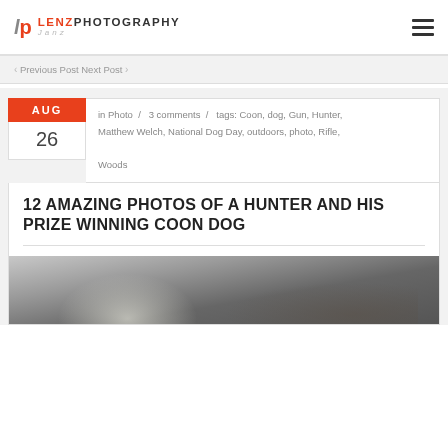LENZPHOTOGRAPHY
< Previous Post  Next Post >
AUG 26  in Photo / 3 comments / tags: Coon, dog, Gun, Hunter, Matthew Welch, National Dog Day, outdoors, photo, Rifle, Woods
12 AMAZING PHOTOS OF A HUNTER AND HIS PRIZE WINNING COON DOG
[Figure (photo): Black and white photo showing a dog, partially visible at the bottom of the page]